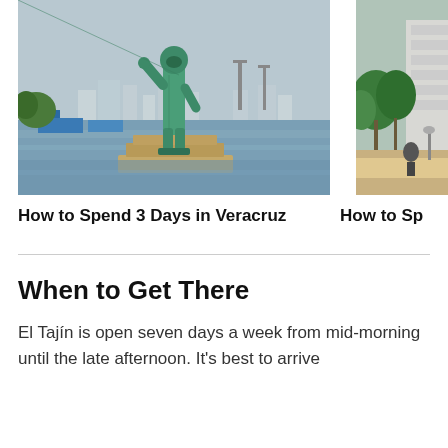[Figure (photo): Green statue of a diver standing on stone blocks at a waterfront in Veracruz, with boats and buildings in the background]
How to Spend 3 Days in Veracruz
[Figure (photo): Partial view of a park or plaza with trees and a building, cropped on the right side of the page]
How to Sp…
When to Get There
El Tajín is open seven days a week from mid-morning until the late afternoon. It's best to arrive